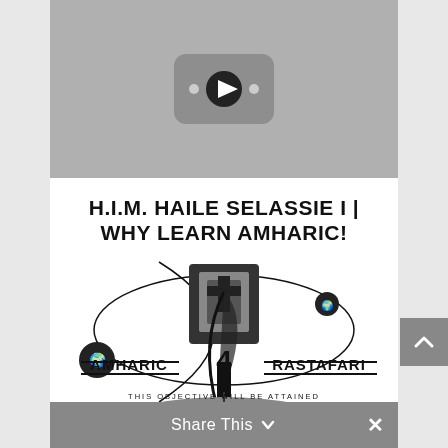[Figure (screenshot): YouTube video thumbnail showing a play button icon on a gray background, representing a video about H.I.M. Haile Selassie I and Why Learn Amharic]
H.I.M. HAILE SELASSIE I | WHY LEARN AMHARIC!
[Figure (logo): Amharic 4 Rastafari logo with decorative artwork, text reading AMHARIC 4 RASTAFARI, THIS OBJECTIVE WILL BE ATTAINED, and RASTAFARIGROUNDATION.ORG]
Share This ∨  ×